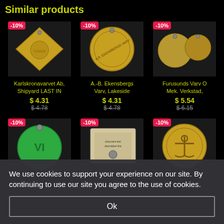Similar products
[Figure (photo): Gold diamond-shaped token/tag with -10% badge, product: Karlskronavarvet Ab, Shipyard LAST IN]
[Figure (photo): Round gold coin/token labeled A.B. EKENSBERGS VARV with -10% badge]
[Figure (photo): Two small round gold coins/tokens with -10% badge, product: Furusunds Varv O Mek. Verkstad]
Karlskronavarvet Ab, Shipyard LAST IN
$ 4.31
$ 4.78
A.-B. Ekensbergs Varv, Lakeside
$ 4.31
$ 4.78
Furusunds Varv O Mek. Verkstad,
$ 5.54
$ 6.15
[Figure (photo): Round green token/tag with letters VJ and -10% badge]
[Figure (photo): Document/paper item with small coin, -10% badge]
[Figure (photo): Round gold token with anchor image, -10% badge]
We use cookies to support your experience on our site. By continuing to use our site you agree to the use of cookies.
Ok